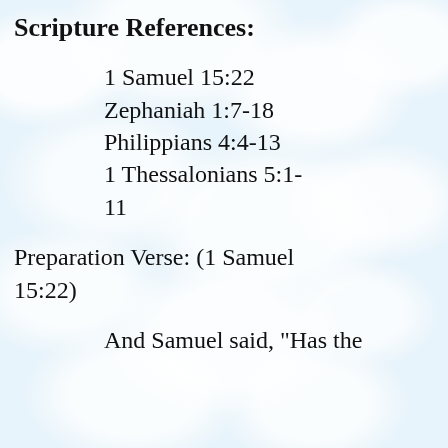Scripture References:
1 Samuel 15:22
Zephaniah 1:7-18
Philippians 4:4-13
1 Thessalonians 5:1-11
Preparation Verse: (1 Samuel 15:22)
And Samuel said, "Has the